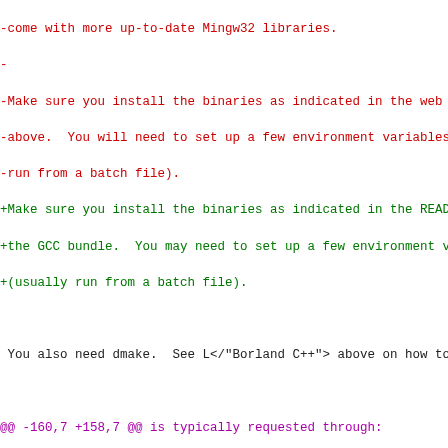-come with more up-to-date Mingw32 libraries.
-
-Make sure you install the binaries as indicated in the web
-above.  You will need to set up a few environment variables
-run from a batch file).
+Make sure you install the binaries as indicated in the READ
+the GCC bundle.  You may need to set up a few environment v
+(usually run from a batch file).

 You also need dmake.  See L</"Borland C++"> above on how to

@@ -160,7 +158,7 @@ is typically requested through:
        perl Makefile.PL CAPI=TRUE

 PERL_OBJECT requires VC++ 5.0 (Service Pack 3 recommended)
-is not yet supported under GCC or EGCS.  WARNING:  Binaries
+is not yet supported under GCC.  WARNING:  Binaries built w
 PERL_OBJECT enabled are B<not> compatible with binaries bui
 Perl installs PERL_OBJECT binaries under a distinct archite
 so they B<can> coexist, though.
@@ -745,10 +743,8 @@ L<perl>

 This port was originally contributed by Gary Ng around 5.00
 and borrowed from the Hip Communications port that was avai
-at the time.
-
-Nick Ing-Simmons and Gurusamy Sarathy have made numerous an
-sundry hacks since then.
+at the time.  Various people have made numerous and sundry
+since then.

 Borland support was added in 5.004_01 (Gurusamy Sarathy)